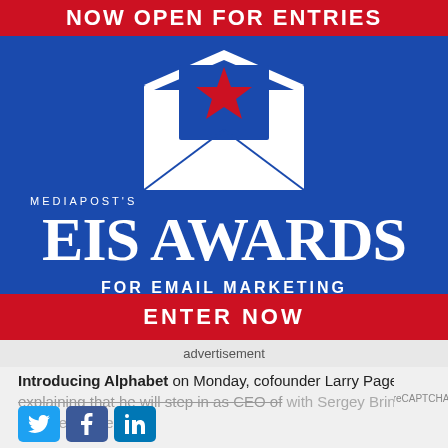[Figure (illustration): Advertisement banner for MediaPost's EIS Awards For Email Marketing Excellence. Blue background with envelope graphic containing a red star, red banner at top reading NOW OPEN FOR ENTRIES, large white text EIS AWARDS, subtext FOR EMAIL MARKETING EXCELLENCE, red button ENTER NOW at bottom.]
advertisement
Introducing Alphabet on Monday, cofounder Larry Page explaining that he will step in as CEO of with Sergey Brin as president. The new